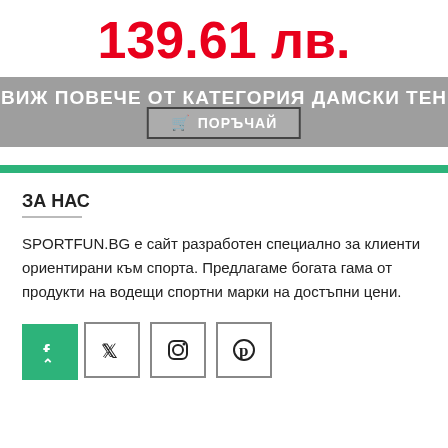139.61 лв.
ВИЖ ПОВЕЧЕ ОТ КАТЕГОРИЯ ДАМСКИ ТЕН
🛒 ПОРЪЧАЙ
ЗА НАС
SPORTFUN.BG е сайт разработен специално за клиенти ориентирани към спорта. Предлагаме богата гама от продукти на водещи спортни марки на достъпни цени.
[Figure (other): Social media icon buttons: Facebook, Twitter, Instagram, Pinterest]